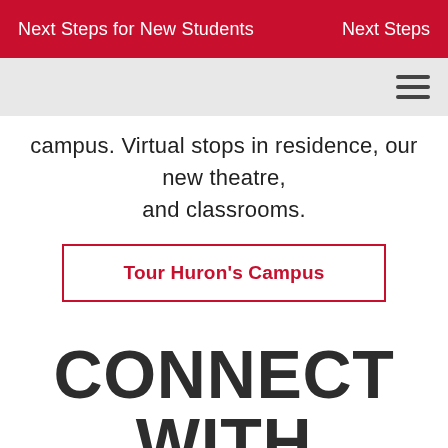Next Steps for New Students   Next Steps
campus. Virtual stops in residence, our new theatre, and classrooms.
Tour Huron's Campus
CONNECT WITH HURON STUDENTS